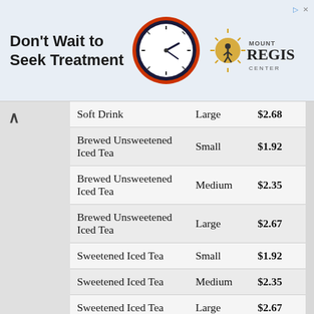[Figure (infographic): Advertisement banner for Mount Regis Center with clock illustration and text 'Don't Wait to Seek Treatment']
| Item | Size | Price |
| --- | --- | --- |
| Soft Drink | Large | $2.68 |
| Brewed Unsweetened Iced Tea | Small | $1.92 |
| Brewed Unsweetened Iced Tea | Medium | $2.35 |
| Brewed Unsweetened Iced Tea | Large | $2.67 |
| Sweetened Iced Tea | Small | $1.92 |
| Sweetened Iced Tea | Medium | $2.35 |
| Sweetened Iced Tea | Large | $2.67 |
| Nestlé® Pure Life® Bottled Water |  | $1.84 |
| Fresh Brewed Coffee |  | $1.21 |